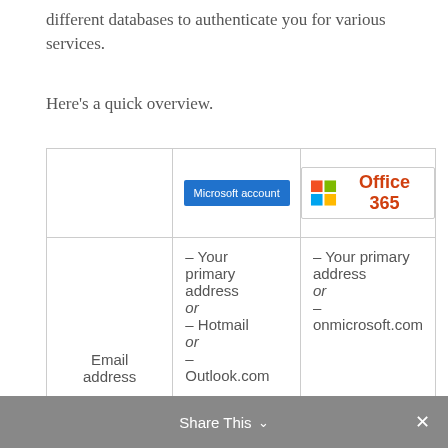different databases to authenticate you for various services.
Here's a quick overview.
|  | Microsoft account | Office 365 |
| --- | --- | --- |
| Email address | – Your primary address or – Hotmail or – Outlook.com | – Your primary address or – onmicrosoft.com |
Share This ∨  ×